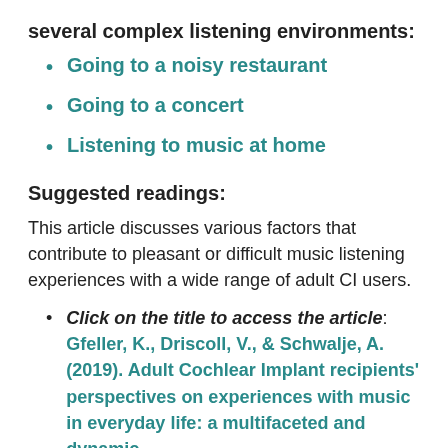several complex listening environments:
Going to a noisy restaurant
Going to a concert
Listening to music at home
Suggested readings:
This article discusses various factors that contribute to pleasant or difficult music listening experiences with a wide range of adult CI users.
Click on the title to access the article:  Gfeller, K., Driscoll, V., & Schwalje, A. (2019). Adult Cochlear Implant recipients' perspectives on experiences with music in everyday life: a multifaceted and dynamic